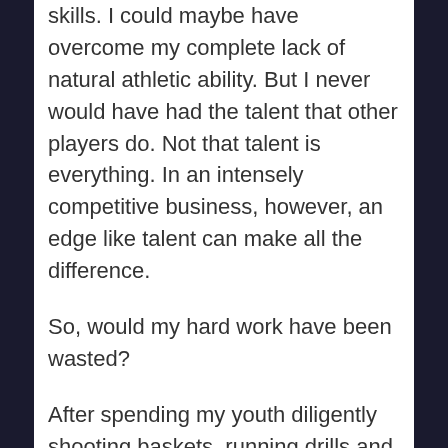skills. I could maybe have overcome my complete lack of natural athletic ability. But I never would have had the talent that other players do. Not that talent is everything. In an intensely competitive business, however, an edge like talent can make all the difference.

So, would my hard work have been wasted?

After spending my youth diligently shooting baskets, running drills and honing my body to the most finely tuned athletic machine it could be (this imaginary montage of Jeffe-in-training is SO amusing if you happen to know me), when I ultimately watched the talented stars waltz past me into their coveted few pro-player careers, would I stomp my foot and wish that time back?